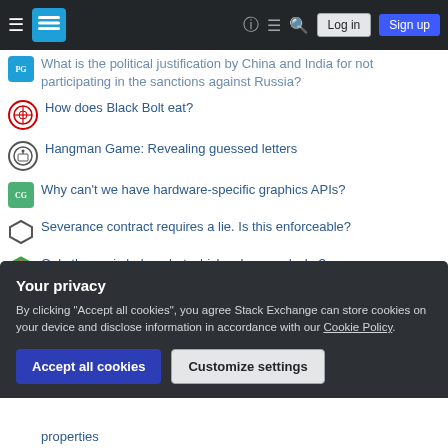Stack Exchange navigation bar with Log in and Sign up buttons
What is the political justification by China and India for not participating in the sanctions against Russia?
How does Black Bolt eat?
Hangman Game: Revealing guessed letters
Why can't we have hardware-specific graphics APIs?
Severance contract requires a lie. Is this enforceable?
Only these six belong but which, where and why?
Detecting offworlders with cameras
Use of dative in poetry
Why does this author claim that buying index funds will decrease
Your privacy
By clicking "Accept all cookies", you agree Stack Exchange can store cookies on your device and disclose information in accordance with our Cookie Policy.
properties